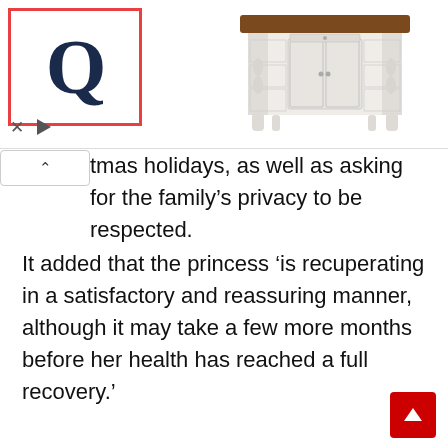[Figure (screenshot): Advertisement banner with a Q logo in a red border box on the left and a furniture (kitchen island/hutch) product image on the right. Below the logo are an X button and a play button.]
tmas holidays, as well as asking for the family's privacy to be respected.
It added that the princess 'is recuperating in a satisfactory and reassuring manner, although it may take a few more months before her health has reached a full recovery.'
Princess Charlene met Prince Albert in 2000 during a swimming competition in Monaco and the pair married in 2011, before welcoming twins Gabriella and Jacques in 2014.